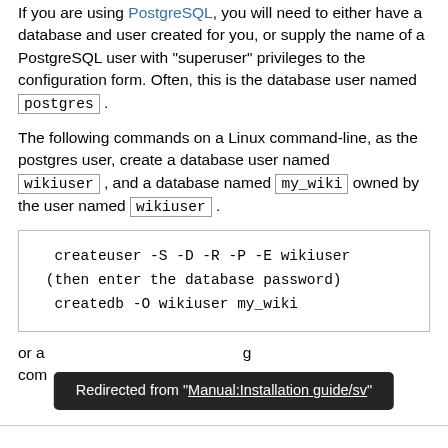If you are using PostgreSQL, you will need to either have a database and user created for you, or supply the name of a PostgreSQL user with "superuser" privileges to the configuration form. Often, this is the database user named postgres.
The following commands on a Linux command-line, as the postgres user, create a database user named wikiuser, and a database named my_wiki owned by the user named wikiuser.
createuser -S -D -R -P -E wikiuser
(then enter the database password)
createdb -O wikiuser my_wiki
or a ... g com...
Redirected from "Manual:Installation guide/sv"